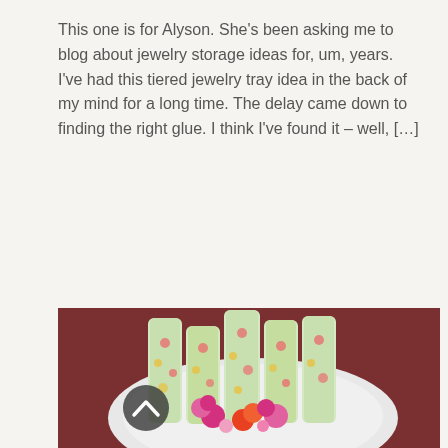This one is for Alyson. She's been asking me to blog about jewelry storage ideas for, um, years. I've had this tiered jewelry tray idea in the back of my mind for a long time. The delay came down to finding the right glue. I think I've found it – well, […]
May 8, 2013 | Organizing
Read More ›
[Figure (photo): Photo of decorative rolled items with floral fabric patterns arranged on a white plate on a dark reddish-brown background, with colorful flower embellishments. A scroll-up button is visible on the left side.]